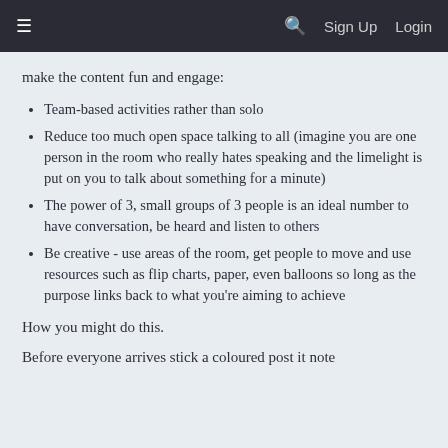≡   [search icon]   Sign Up   Login
make the content fun and engage:
Team-based activities rather than solo
Reduce too much open space talking to all (imagine you are one person in the room who really hates speaking and the limelight is put on you to talk about something for a minute)
The power of 3, small groups of 3 people is an ideal number to have conversation, be heard and listen to others
Be creative - use areas of the room, get people to move and use resources such as flip charts, paper, even balloons so long as the purpose links back to what you're aiming to achieve
How you might do this.
Before everyone arrives stick a coloured post it note